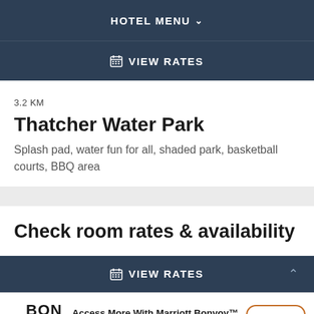HOTEL MENU
VIEW RATES
3.2 KM
Thatcher Water Park
Splash pad, water fun for all, shaded park, basketball courts, BBQ area
Check room rates & availability
VIEW RATES
Access More With Marriott Bonvoy™ Unlock your stay on the app